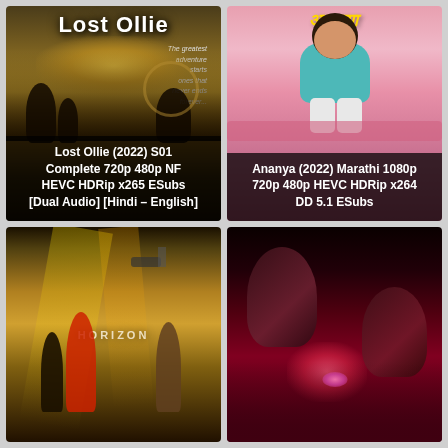[Figure (photo): Movie poster for Lost Ollie (2022) S01 Complete – dark apocalyptic scene with golden sky, abandoned carnival/fairground in background, text overlay at bottom]
[Figure (photo): Movie poster for Ananya (2022) Marathi – pink background with a smiling woman in teal top sitting on a bed, golden Devanagari title text at top]
[Figure (photo): Movie/show poster with yellow-toned dramatic group scene, characters standing in action poses with drone overhead, dark lower portion]
[Figure (photo): Dark red-toned dramatic movie poster showing two faces in close-up with moody lighting and red/pink ambient glow]